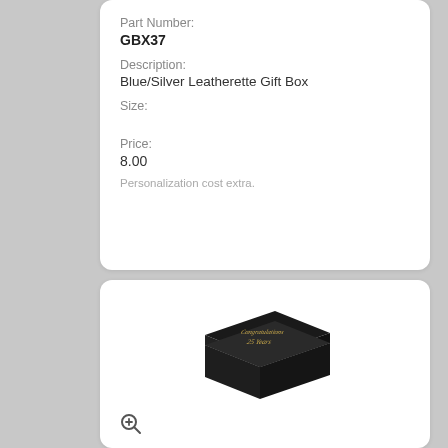Part Number:
GBX37
Description:
Blue/Silver Leatherette Gift Box
Size:
Price:
8.00
Personalization cost extra.
[Figure (photo): A dark/black leatherette gift box with gold text reading 'Congratulations 25 Years' on the lid, shown at an angle.]
Part Number: